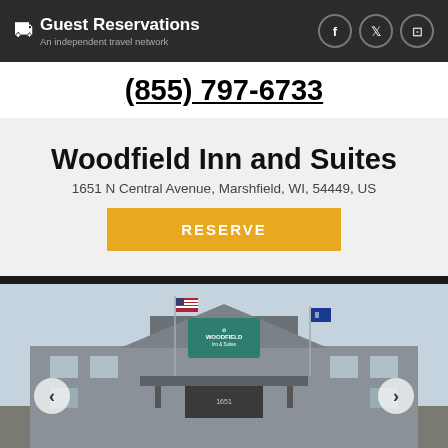Guest Reservations — An independent travel network
(855) 797-6733
Woodfield Inn and Suites
1651 N Central Avenue, Marshfield, WI, 54449, US
RESERVE
[Figure (photo): Exterior photograph of Woodfield Inn and Suites building with American and state flags, a teal sign reading 'Woodfield Inn & Suites', and a covered entrance canopy. Navigation arrows on left and right sides of image.]